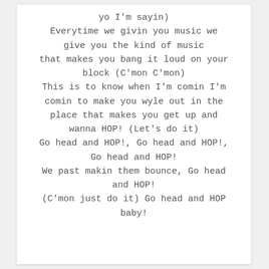yo I'm sayin)
Everytime we givin you music we give you the kind of music that makes you bang it loud on your block (C'mon C'mon)
This is to know when I'm comin I'm comin to make you wyle out in the place that makes you get up and wanna HOP! (Let's do it)
Go head and HOP!, Go head and HOP!, Go head and HOP!
We past makin them bounce, Go head and HOP!
(C'mon just do it) Go head and HOP baby!